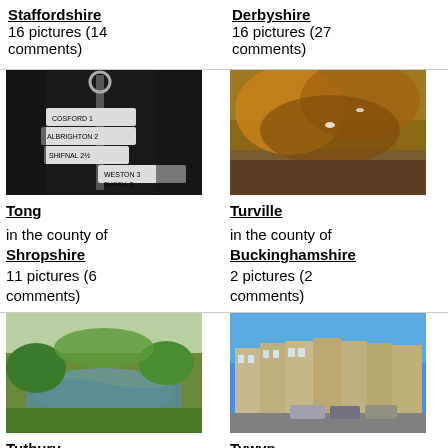Staffordshire
16 pictures (14 comments)
Derbyshire
16 pictures (27 comments)
[Figure (photo): Road signpost in Shropshire showing Cosford, Albrighton, Shifnal, Weston, Blymill directions]
[Figure (photo): Autumn trees with birds, Turville, Buckinghamshire]
Tong
Turville
in the county of Shropshire
11 pictures (6 comments)
in the county of Buckinghamshire
2 pictures (2 comments)
[Figure (photo): River bend with green vegetation, Tutbury]
[Figure (photo): Terraced Victorian buildings with parked cars on street, Tywyn]
Tutbury
Tywyn
in the county of
in the county of